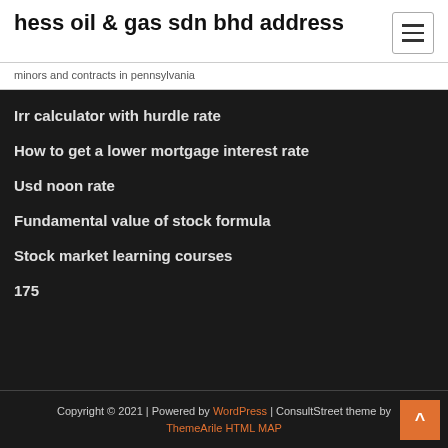hess oil & gas sdn bhd address
minors and contracts in pennsylvania
Irr calculator with hurdle rate
How to get a lower mortgage interest rate
Usd noon rate
Fundamental value of stock formula
Stock market learning courses
175
Copyright © 2021 | Powered by WordPress | ConsultStreet theme by ThemeArile HTML MAP